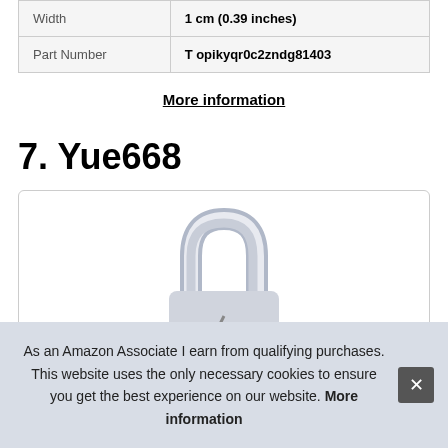| Width | 1 cm (0.39 inches) |
| Part Number | T opikyqr0c2zndg81403 |
More information
7. Yue668
[Figure (photo): Product image of a padlock (Yue668) inside a rounded-corner card box]
As an Amazon Associate I earn from qualifying purchases. This website uses the only necessary cookies to ensure you get the best experience on our website. More information